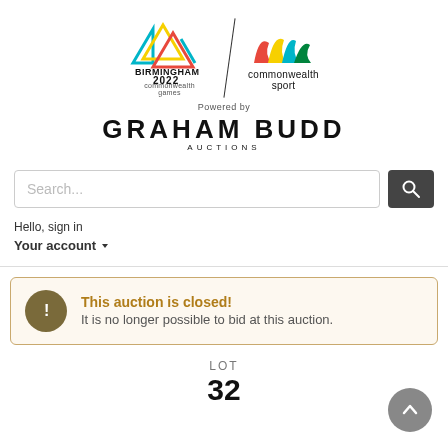[Figure (logo): Birmingham 2022 Commonwealth Games logo and Commonwealth Sport logo side by side, separated by a diagonal line, with 'Powered by' text and Graham Budd Auctions branding below]
Search...
Hello, sign in
Your account
This auction is closed!
It is no longer possible to bid at this auction.
LOT
32